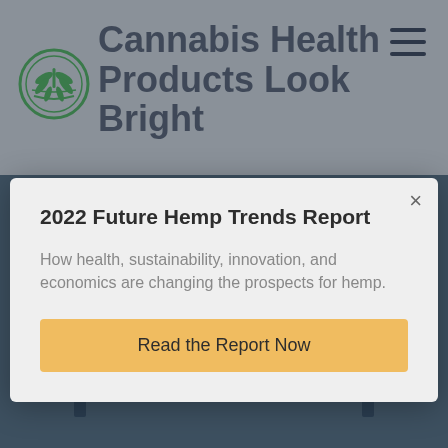Cannabis Health Products Look Bright
[Figure (logo): Circular hemp/cannabis leaf logo with green botanical design]
2022 Future Hemp Trends Report
How health, sustainability, innovation, and economics are changing the prospects for hemp.
Read the Report Now
[Figure (photo): Industrial equipment photo showing metal frame or laser cutter machinery with dark blue-grey coloring]